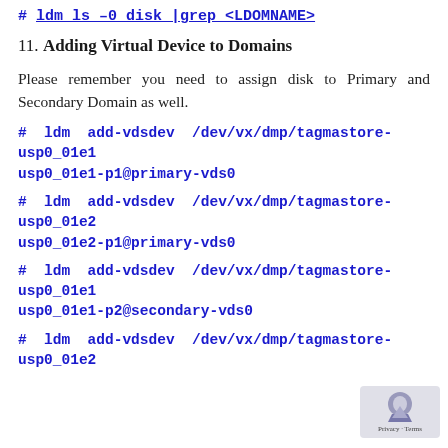# ldm ls -0 disk |grep <LDOMNAME>
11. Adding Virtual Device to Domains
Please remember you need to assign disk to Primary and Secondary Domain as well.
# ldm add-vdsdev /dev/vx/dmp/tagmastore-usp0_01e1usp0_01e1-p1@primary-vds0
# ldm add-vdsdev /dev/vx/dmp/tagmastore-usp0_01e2usp0_01e2-p1@primary-vds0
# ldm add-vdsdev /dev/vx/dmp/tagmastore-usp0_01e1usp0_01e1-p2@secondary-vds0
# ldm add-vdsdev /dev/vx/dmp/tagmastore-usp0_01e2